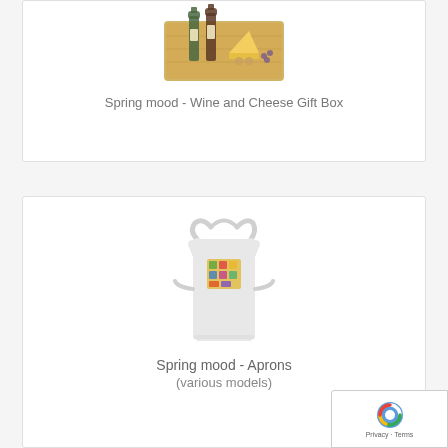[Figure (photo): Product image of Spring mood Wine and Cheese Gift Box - a gift box with wine and cheese items visible at top of page]
Spring mood - Wine and Cheese Gift Box
[Figure (photo): Product image of a white apron with a colorful Spring mood print in the center]
Spring mood - Aprons
(various models)